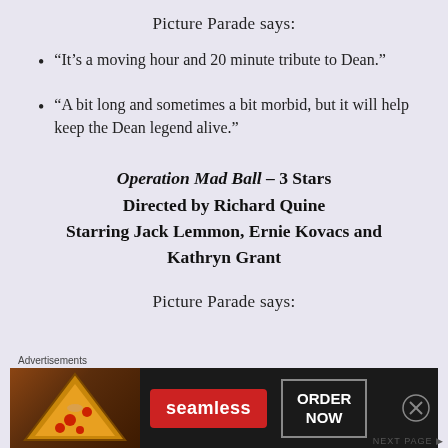Picture Parade says:
“It’s a moving hour and 20 minute tribute to Dean.”
“A bit long and sometimes a bit morbid, but it will help keep the Dean legend alive.”
Operation Mad Ball – 3 Stars
Directed by Richard Quine
Starring Jack Lemmon, Ernie Kovacs and Kathryn Grant
Picture Parade says:
Advertisements
[Figure (photo): Seamless food delivery advertisement banner showing pizza image on left, red Seamless logo in center, and ORDER NOW button on right, on dark background]